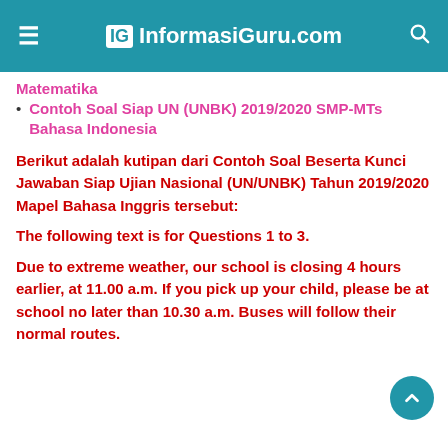IG InformasiGuru.com
Matematika
Contoh Soal Siap UN (UNBK) 2019/2020 SMP-MTs Bahasa Indonesia
Berikut adalah kutipan dari Contoh Soal Beserta Kunci Jawaban Siap Ujian Nasional (UN/UNBK) Tahun 2019/2020 Mapel Bahasa Inggris tersebut:
The following text is for Questions 1 to 3.
Due to extreme weather, our school is closing 4 hours earlier, at 11.00 a.m. If you pick up your child, please be at school no later than 10.30 a.m. Buses will follow their normal routes.